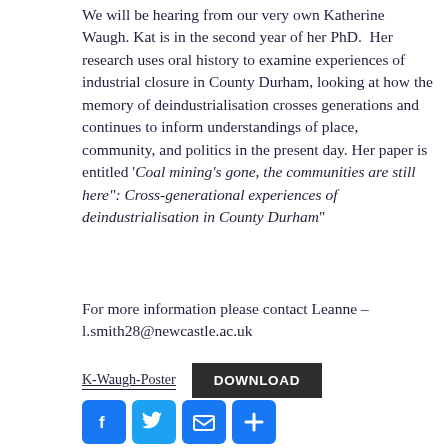We will be hearing from our very own Katherine Waugh. Kat is in the second year of her PhD.  Her research uses oral history to examine experiences of industrial closure in County Durham, looking at how the memory of deindustrialisation crosses generations and continues to inform understandings of place, community, and politics in the present day. Her paper is entitled '‘Coal mining’s gone, the communities are still here”: Cross-generational experiences of deindustrialisation in County Durham”
For more information please contact Leanne – l.smith28@newcastle.ac.uk
K-Waugh-Poster  DOWNLOAD
[Figure (infographic): Row of four social sharing icons: Facebook (f), Twitter (bird), Email (envelope), Share (plus sign), all in blue rounded squares]